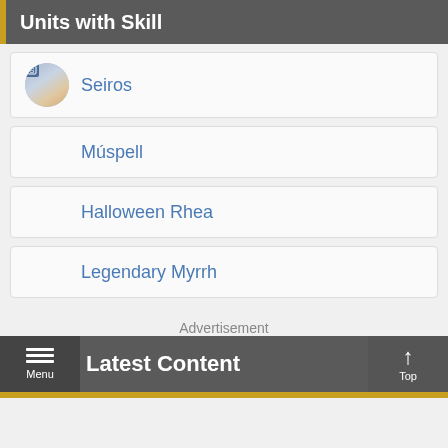Units with Skill
Seiros
Múspell
Halloween Rhea
Legendary Myrrh
Advertisement
Menu  Latest Content  Top